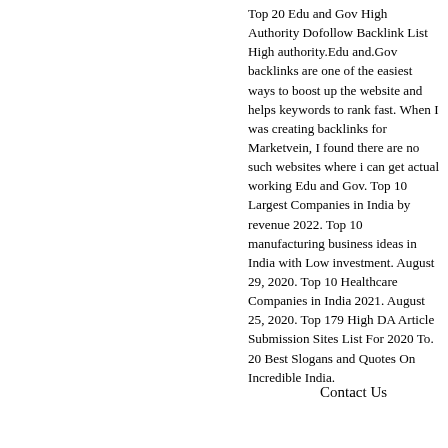Top 20 Edu and Gov High Authority Dofollow Backlink List High authority.Edu and.Gov backlinks are one of the easiest ways to boost up the website and helps keywords to rank fast. When I was creating backlinks for Marketvein, I found there are no such websites where i can get actual working Edu and Gov. Top 10 Largest Companies in India by revenue 2022. Top 10 manufacturing business ideas in India with Low investment. August 29, 2020. Top 10 Healthcare Companies in India 2021. August 25, 2020. Top 179 High DA Article Submission Sites List For 2020 To. 20 Best Slogans and Quotes On Incredible India.
Contact Us